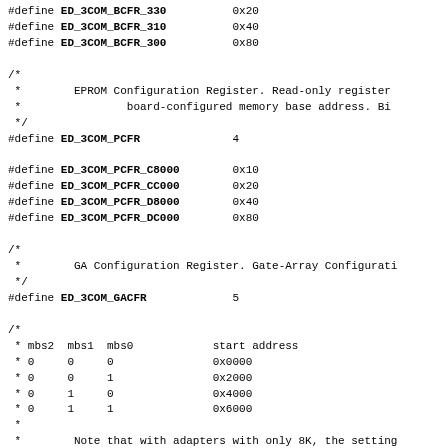#define ED_3COM_BCFR_330 0x20
#define ED_3COM_BCFR_310 0x40
#define ED_3COM_BCFR_300 0x80

/*
 * EPROM Configuration Register. Read-only register
 * board-configured memory base address. Bi
 */
#define ED_3COM_PCFR 4

#define ED_3COM_PCFR_C8000 0x10
#define ED_3COM_PCFR_CC000 0x20
#define ED_3COM_PCFR_D8000 0x40
#define ED_3COM_PCFR_DC000 0x80

/*
 * GA Configuration Register. Gate-Array Configurati
 */
#define ED_3COM_GACFR 5

/*
 * mbs2 mbs1 mbs0 start address
 * 0 0 0 0x0000
 * 0 0 1 0x2000
 * 0 1 0 0x4000
 * 0 1 1 0x6000
 *
 * Note that with adapters with only 8K, the setting
 * always be used.
 */
#define ED_3COM_GACFR_MBS0 0x01